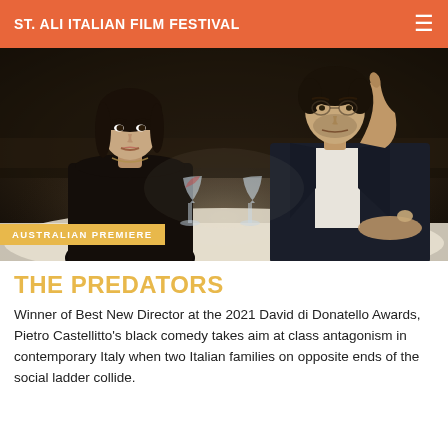ST. ALI ITALIAN FILM FESTIVAL
[Figure (photo): Two people seated at a restaurant table in a dimly lit scene. A woman in a black lace top sits on the left looking pensively to the side, and a man in a dark suit with a red tie sits on the right. Wine glasses are visible on the white tablecloth. A gold badge reads AUSTRALIAN PREMIERE in the lower left corner of the image.]
THE PREDATORS
Winner of Best New Director at the 2021 David di Donatello Awards, Pietro Castellitto's black comedy takes aim at class antagonism in contemporary Italy when two Italian families on opposite ends of the social ladder collide.